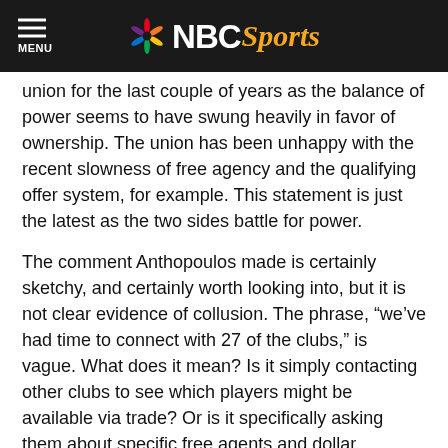MENU | NBC Sports
union for the last couple of years as the balance of power seems to have swung heavily in favor of ownership. The union has been unhappy with the recent slowness of free agency and the qualifying offer system, for example. This statement is just the latest as the two sides battle for power.
The comment Anthopoulos made is certainly sketchy, and certainly worth looking into, but it is not clear evidence of collusion. The phrase, “we’ve had time to connect with 27 of the clubs,” is vague. What does it mean? Is it simply contacting other clubs to see which players might be available via trade? Or is it specifically asking them about specific free agents and dollar amounts of offers?
That being said, we can certainly add it onto the pile of questionable things that could potentially point to collusion. Back in February, lefty Francisco Liriano was